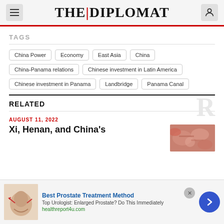THE DIPLOMAT
TAGS
China Power
Economy
East Asia
China
China-Panama relations
Chinese investment in Latin America
Chinese investment in Panama
Landbridge
Panama Canal
RELATED
AUGUST 11, 2022
Xi, Henan, and China’s
[Figure (photo): Red and orange currency notes, close up photo]
Best Prostate Treatment Method
Top Urologist: Enlarged Prostate? Do This Immediately
healthreport4u.com